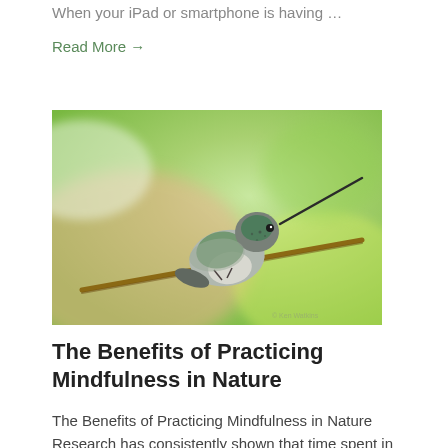When your iPad or smartphone is having …
Read More →
[Figure (photo): A hummingbird perched on a thin branch, with green iridescent plumage and a long slender beak, against a soft blurred green and pink background.]
The Benefits of Practicing Mindfulness in Nature
The Benefits of Practicing Mindfulness in Nature Research has consistently shown that time spent in nature helps